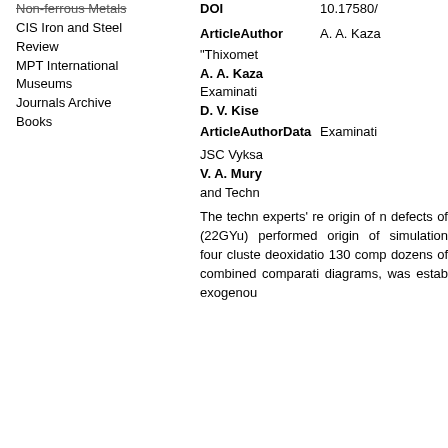CIS Iron and Steel Review
MPT International
Museums
Journals Archive
Books
DOI  10.17580/
ArticleAuthor  A. A. Kaza...
"Thixomet... A. A. Kaza... Examinati... D. V. Kise...
ArticleAuthorData  Examinati...
JSC Vyksa... V. A. Mury... and Techn...
The techn... experts' re... origin of n... defects of... (22GYu) performed... origin of... simulation... four cluste... deoxidatio... 130 comp... dozens of... combined... comparati... diagrams,... was estab... exogenous...